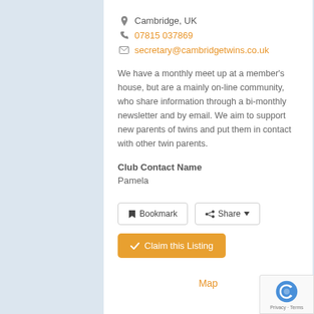Cambridge, UK
07815 037869
secretary@cambridgetwins.co.uk
We have a monthly meet up at a member's house, but are a mainly on-line community, who share information through a bi-monthly newsletter and by email. We aim to support new parents of twins and put them in contact with other twin parents.
Club Contact Name
Pamela
Bookmark  Share
Claim this Listing
Map
Photos